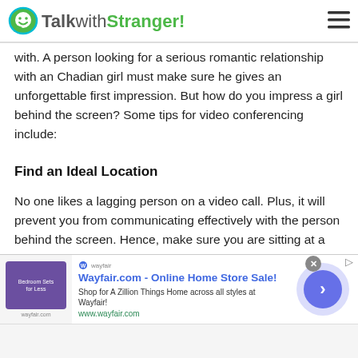TalkwithStranger!
with. A person looking for a serious romantic relationship with an Chadian girl must make sure he gives an unforgettable first impression. But how do you impress a girl behind the screen? Some tips for video conferencing include:
Find an Ideal Location
No one likes a lagging person on a video call. Plus, it will prevent you from communicating effectively with the person behind the screen. Hence, make sure you are sitting at a place in your house where you have a stable
[Figure (advertisement): Wayfair.com Online Home Store Sale advertisement banner with a bedroom furniture image and a blue arrow button]